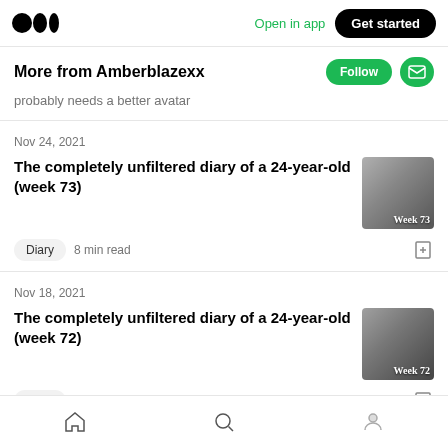Medium logo | Open in app | Get started
More from Amberblazexx
probably needs a better avatar
Nov 24, 2021
The completely unfiltered diary of a 24-year-old (week 73)
Diary  8 min read
Nov 18, 2021
The completely unfiltered diary of a 24-year-old (week 72)
Diary  5 min read
Home | Search | Profile